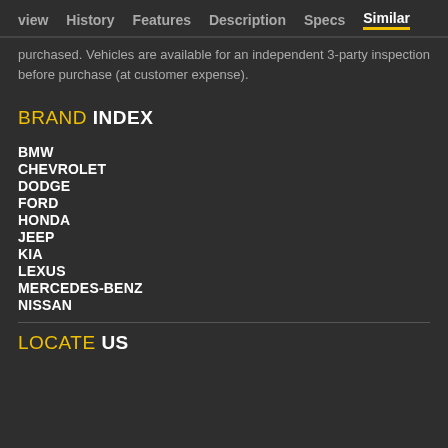view  History  Features  Description  Specs  Similar
purchased. Vehicles are available for an independent 3-party inspection before purchase (at customer expense).
BRAND INDEX
BMW
CHEVROLET
DODGE
FORD
HONDA
JEEP
KIA
LEXUS
MERCEDES-BENZ
NISSAN
LOCATE US